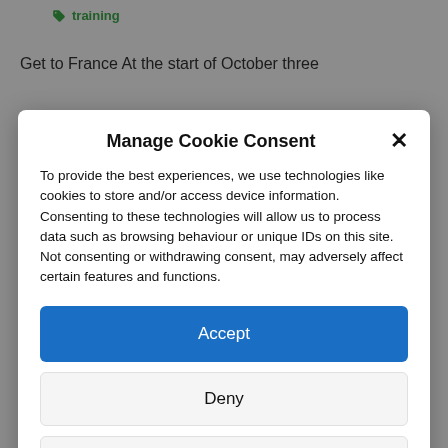training
Get to France At the start of October three
Manage Cookie Consent
To provide the best experiences, we use technologies like cookies to store and/or access device information. Consenting to these technologies will allow us to process data such as browsing behaviour or unique IDs on this site. Not consenting or withdrawing consent, may adversely affect certain features and functions.
Accept
Deny
View preferences
Cookie Policy   Privacy & Cookie Policy, Terms of Use
[Figure (logo): Red circular institutional logo/crest at the bottom of the page]